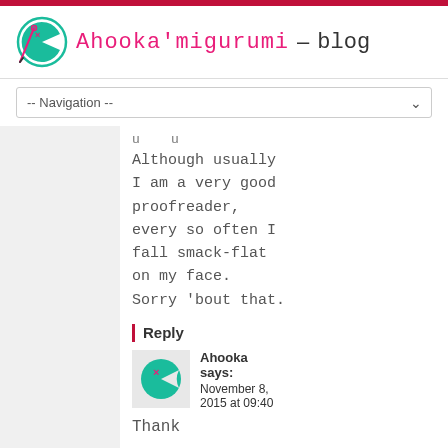Ahooka'migurumi – blog
-- Navigation --
Although usually I am a very good proofreader, every so often I fall smack-flat on my face. Sorry 'bout that.
Reply
[Figure (logo): Ahooka avatar: teal pac-man style face with pink X mark on circular background]
Ahooka says: November 8, 2015 at 09:40
Thank